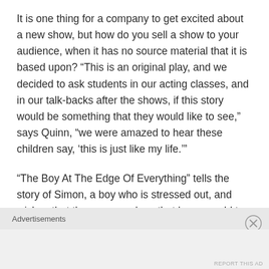It is one thing for a company to get excited about a new show, but how do you sell a show to your audience, when it has no source material that it is based upon? “This is an original play, and we decided to ask students in our acting classes, and in our talk-backs after the shows, if this story would be something that they would like to see,” says Quinn, “we were amazed to hear these children say, ‘this is just like my life.’”
“The Boy At The Edge Of Everything” tells the story of Simon, a boy who is stressed out, and wishes that there was a place that he go could to get away from everything, and to enjoy some peace and time to
Advertisements